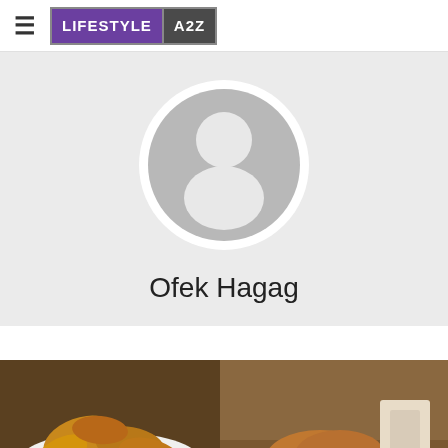≡ LIFESTYLE A2Z
[Figure (illustration): Default user avatar - grey circle with white person silhouette]
Ofek Hagag
[Figure (photo): Food photo showing fried potato wedges on a plate (left) and fried chicken pieces on a wooden surface (right)]